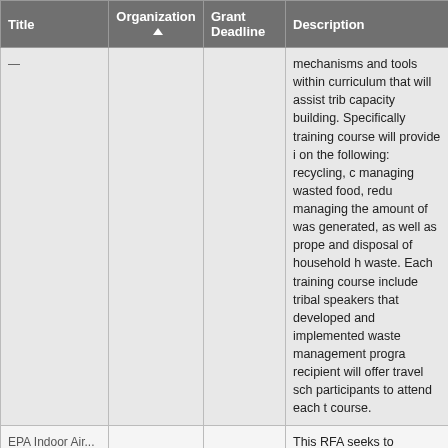| Title | Organization ▲ | Grant Deadline | Description |
| --- | --- | --- | --- |
|  |  |  | mechanisms and tools within curriculum that will assist tribal capacity building. Specifically, training course will provide in on the following: recycling, c managing wasted food, redu managing the amount of was generated, as well as proper and disposal of household ha waste. Each training course include tribal speakers that h developed and implemented waste management program recipient will offer travel sch participants to attend each tr course. |
| EPA Indoor Air... |  |  | This RFA seeks to understand effects from climate change indoor environments. A spec the evaluation of adaptation such as energy-saving buildi modifications for a health |